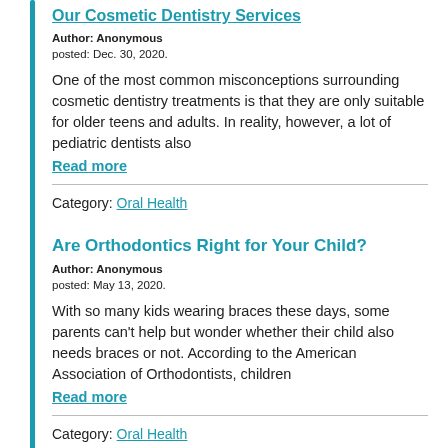Our Cosmetic Dentistry Services
Author: Anonymous
posted: Dec. 30, 2020.
One of the most common misconceptions surrounding cosmetic dentistry treatments is that they are only suitable for older teens and adults. In reality, however, a lot of pediatric dentists also
Read more
Category: Oral Health
Are Orthodontics Right for Your Child?
Author: Anonymous
posted: May 13, 2020.
With so many kids wearing braces these days, some parents can't help but wonder whether their child also needs braces or not. According to the American Association of Orthodontists, children
Read more
Category: Oral Health